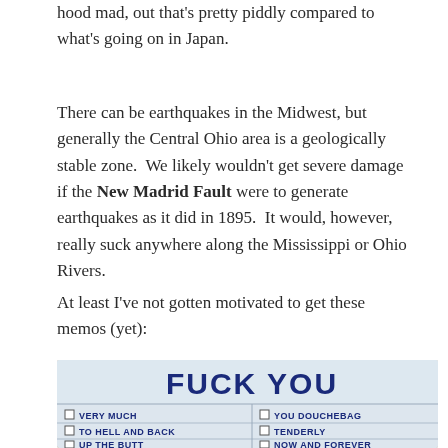hood mad, out that's pretty piddly compared to what's going on in Japan.
There can be earthquakes in the Midwest, but generally the Central Ohio area is a geologically stable zone. We likely wouldn't get severe damage if the New Madrid Fault were to generate earthquakes as it did in 1895. It would, however, really suck anywhere along the Mississippi or Ohio Rivers.
At least I've not gotten motivated to get these memos (yet):
[Figure (photo): A humorous memo/card that reads 'FUCK YOU' in large bold dark blue text at the top, with a grid of checkboxes below listing options: VERY MUCH, YOU DOUCHEBAG, TO HELL AND BACK, TENDERLY, UP THE BUTT (partially visible), NOW AND FOREVER (partially visible). The card is on a tan/cork background.]